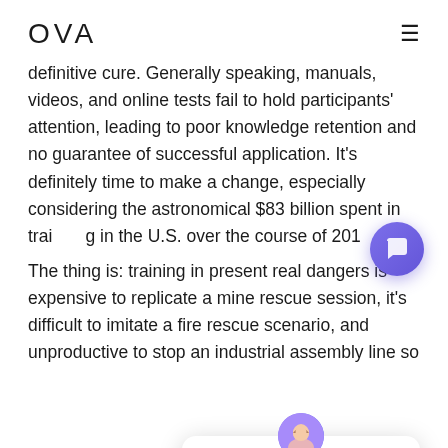OVA ≡
definitive cure. Generally speaking, manuals, videos, and online tests fail to hold participants' attention, leading to poor knowledge retention and no guarantee of successful application. It's definitely time to make a change, especially considering the astronomical $83 billion spent in training in the U.S. over the course of 201
[Figure (screenshot): Chat popup widget with avatar, close button, and message: '🙂 How can we help you? / Comment pouvons-nous vous aider?']
The thing is: training in present real dangers is expensive to replicate a mine rescue session, it's difficult to imitate a fire rescue scenario, and unproductive to stop an industrial assembly line so